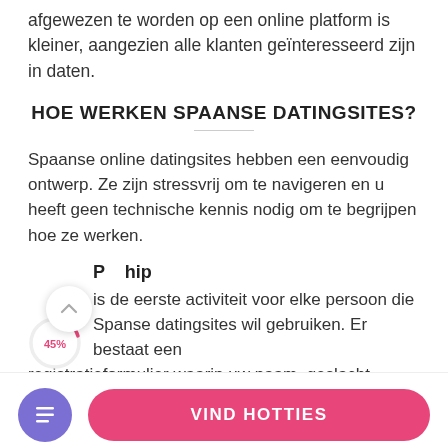afgewezen te worden op een online platform is kleiner, aangezien alle klanten geïnteresseerd zijn in daten.
HOE WERKEN SPAANSE DATINGSITES?
Spaanse online datingsites hebben een eenvoudig ontwerp. Ze zijn stressvrij om te navigeren en u heeft geen technische kennis nodig om te begrijpen hoe ze werken.
Partnerschap
is de eerste activiteit voor elke persoon die Spaanse datingsites wil gebruiken. Er bestaat een registratieformulier waarin uw naam, geslacht,
[Figure (infographic): Scroll up arrow circle button with white background and shadow, and a pink progress ring showing 45% with red text label '45%']
[Figure (infographic): Purple circular icon button with a document/lines icon, and a pink rounded rectangle button labeled 'VIND HOTTIES']